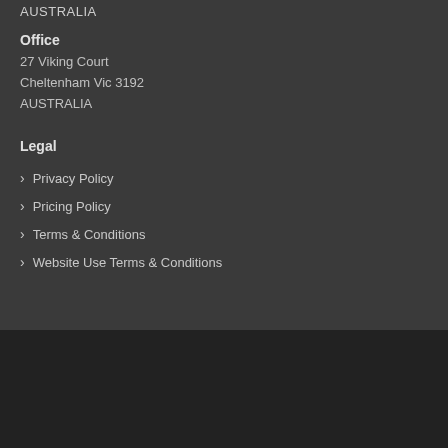AUSTRALIA
Office
27 Viking Court
Cheltenham Vic 3192
AUSTRALIA
Legal
Privacy Policy
Pricing Policy
Terms & Conditions
Website Use Terms & Conditions
© Copyright 2022 Nirvana Sound. All Rights Reserved. Website Design by Happy Panda